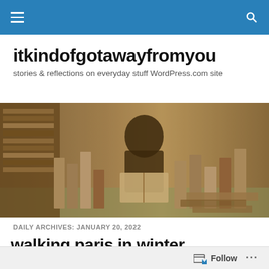[navigation bar with hamburger menu and search icon]
itkindofgotawayfromyou
stories & reflections on everyday stuff WordPress.com site
[Figure (photo): Sepia-toned vintage photograph of a person reading among large stacks of books in what appears to be a library or bookstore setting.]
DAILY ARCHIVES: JANUARY 20, 2022
walking paris in winter
Follow ...